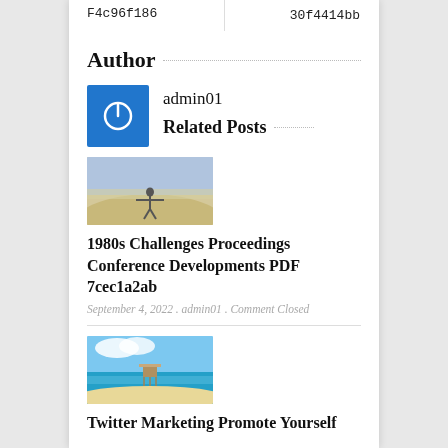|  |  |
| --- | --- |
| F4c96f186 | 30f4414bb |
Author
[Figure (logo): Blue square icon with white power button symbol]
admin01
Related Posts
[Figure (photo): Person with arms outstretched on a beach or open landscape]
1980s Challenges Proceedings Conference Developments PDF 7cec1a2ab
September 4, 2022 . admin01 . Comment Closed
[Figure (photo): Tropical beach scene with pier/dock and turquoise water]
Twitter Marketing Promote Yourself